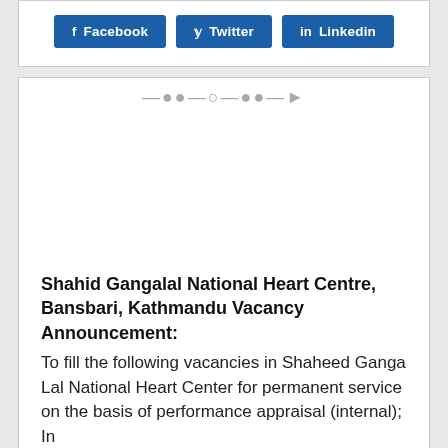[Figure (other): Social sharing buttons for Facebook, Twitter, and LinkedIn]
[Figure (other): Decorative divider line with ornamental elements]
Shahid Gangalal National Heart Centre, Bansbari, Kathmandu Vacancy Announcement:
To fill the following vacancies in Shaheed Ganga Lal National Heart Center for permanent service on the basis of performance appraisal (internal); In